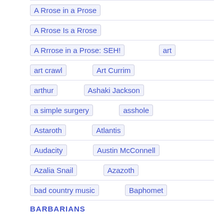A Rrose in a Prose
A Rrose Is a Rrose
A Rrrose in a Prose: SEH!     art
art crawl     Art Currim
arthur     Ashaki Jackson
a simple surgery     asshole
Astaroth     Atlantis
Audacity     Austin McConnell
Azalia Snail     Azazoth
bad country music     Baphomet
BARBARIANS